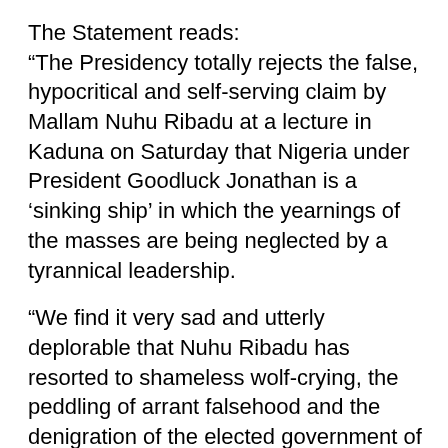The Statement reads:
“The Presidency totally rejects the false, hypocritical and self-serving claim by Mallam Nuhu Ribadu at a lecture in Kaduna on Saturday that Nigeria under President Goodluck Jonathan is a ‘sinking ship’ in which the yearnings of the masses are being neglected by a tyrannical leadership.
“We find it very sad and utterly deplorable that Nuhu Ribadu has resorted to shameless wolf-crying, the peddling of arrant falsehood and the denigration of the elected government of his fatherland in furtherance of his selfish quest for continued national political relevance after his wholesale rejection by Nigerian voters in 2011.
“It is very unfortunate indeed that the once highly